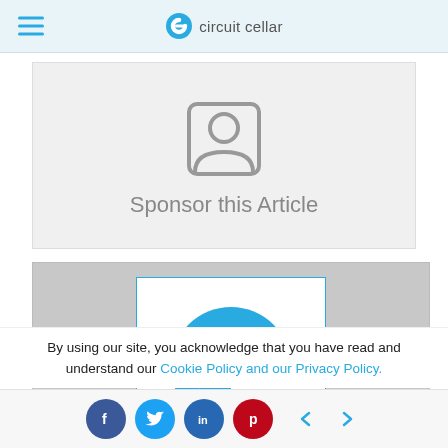circuit cellar
[Figure (illustration): Sponsor this Article card with a generic person/user icon in gray on a light gray background]
Sponsor this Article
[Figure (logo): Circuit Cellar logo — large cyan/blue 'e' letter mark on white background inside gray ad banner]
By using our site, you acknowledge that you have read and understand our Cookie Policy and our Privacy Policy.
Social share bar with Facebook, Twitter, LinkedIn, Pinterest buttons and navigation arrows